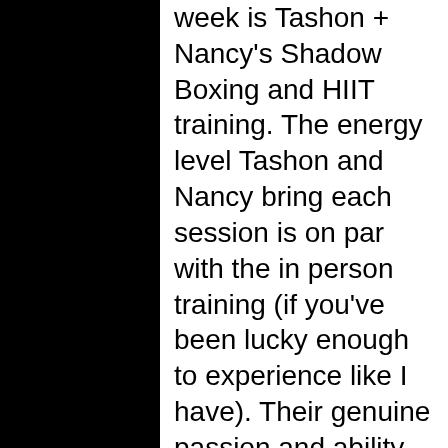week is Tashon + Nancy's Shadow Boxing and HIIT training. The energy level Tashon and Nancy bring each session is on par with the in person training (if you've been lucky enough to experience like I have). Their genuine passion and ability to connect with all of us shines through, even virtually. It's been over six months of virtual classes and I've seen myself get much stronger, leaner with more stamina. Each session brings a different physical and mental challenge. The